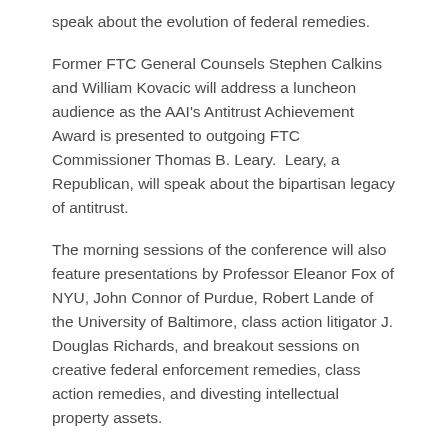speak about the evolution of federal remedies.
Former FTC General Counsels Stephen Calkins and William Kovacic will address a luncheon audience as the AAI's Antitrust Achievement Award is presented to outgoing FTC Commissioner Thomas B. Leary.  Leary, a Republican, will speak about the bipartisan legacy of antitrust.
The morning sessions of the conference will also feature presentations by Professor Eleanor Fox of NYU, John Connor of Purdue, Robert Lande of the University of Baltimore, class action litigator J. Douglas Richards, and breakout sessions on creative federal enforcement remedies, class action remedies, and divesting intellectual property assets.